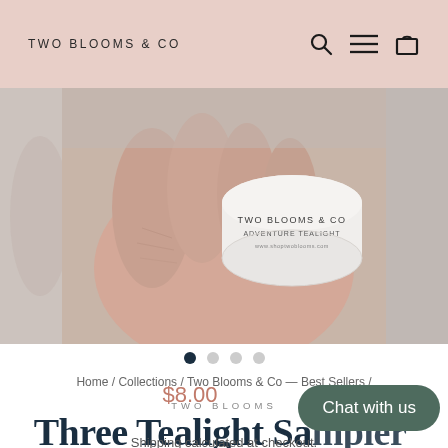TWO BLOOMS & CO
[Figure (photo): A hand holding a white round candle tin labeled 'TWO BLOOMS & CO ADVENTURE TEALIGHT' with website www.shoptwoblooms.com. Left and right strips show partial product images.]
● ○ ○ ○
Home / Collections / Two Blooms & Co — Best Sellers /
TWO BLOOMS
Three Tealight Sa...
$8.00
Shipping calculated at checkout.